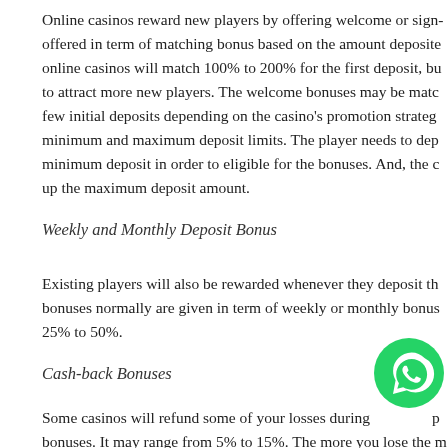Online casinos reward new players by offering welcome or sign- offered in term of matching bonus based on the amount deposite online casinos will match 100% to 200% for the first deposit, bu to attract more new players. The welcome bonuses may be matc few initial deposits depending on the casino's promotion strateg minimum and maximum deposit limits. The player needs to dep minimum deposit in order to eligible for the bonuses. And, the c up the maximum deposit amount.
Weekly and Monthly Deposit Bonus
Existing players will also be rewarded whenever they deposit th bonuses normally are given in term of weekly or monthly bonus 25% to 50%.
Cash-back Bonuses
Some casinos will refund some of your losses during p bonuses. It may range from 5% to 15%. The more you lose the m
[Figure (logo): WhatsApp icon - green circle with white phone/chat logo]